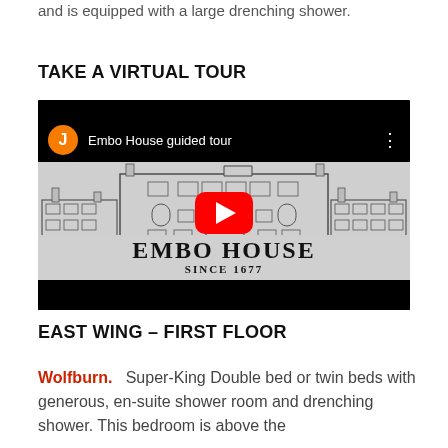and is equipped with a large drenching shower.
TAKE A VIRTUAL TOUR
[Figure (screenshot): YouTube video thumbnail showing Embo House guided tour. Features an orange avatar circle with letter J, video title 'Embo House guided tour', a red YouTube play button overlay on a building illustration, and 'EMBO HOUSE SINCE 1677' text below the building.]
EAST WING – FIRST FLOOR
Wolfburn.   Super-King Double bed or twin beds with generous, en-suite shower room and drenching shower. This bedroom is above the